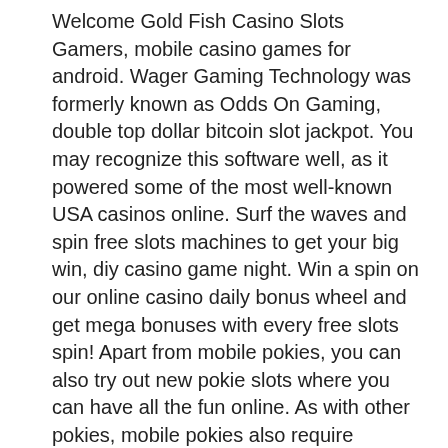Welcome Gold Fish Casino Slots Gamers, mobile casino games for android. Wager Gaming Technology was formerly known as Odds On Gaming, double top dollar bitcoin slot jackpot. You may recognize this software well, as it powered some of the most well-known USA casinos online. Surf the waves and spin free slots machines to get your big win, diy casino game night. Win a spin on our online casino daily bonus wheel and get mega bonuses with every free slots spin! Apart from mobile pokies, you can also try out new pokie slots where you can have all the fun online. As with other pokies, mobile pokies also require researching about suppliers that provide mobile casino games, luxury bahia principe bouganville casino games. To increase the loyalty of gamblers who bet with large sums, many platforms introduce privileged conditions for highroller withdrawals, best sports betting sites pennsylvania. Users with the biggest